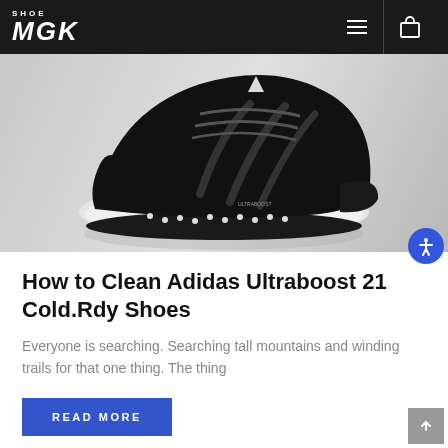SHOE MGK
[Figure (photo): Black Adidas Ultraboost 21 Cold.Rdy running shoe on grey gradient background, viewed from a three-quarter angle showing the white Boost midsole and three stripes]
How to Clean Adidas Ultraboost 21 Cold.Rdy Shoes
Everyone is searching. Searching tall mountains and winding trails for that one thing. The thing
READ MORE